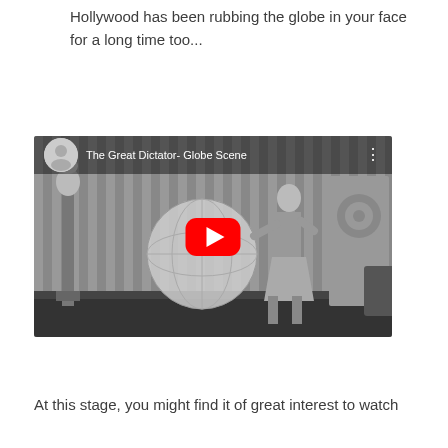Hollywood has been rubbing the globe in your face for a long time too...
[Figure (screenshot): YouTube video embed showing 'The Great Dictator- Globe Scene' — a black and white still from Charlie Chaplin's film showing a figure balancing a large globe, with YouTube play button overlaid in red]
At this stage, you might find it of great interest to watch